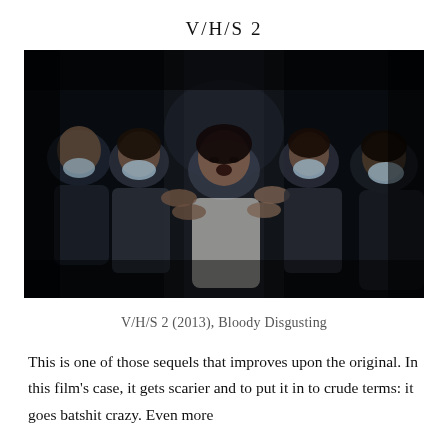V/H/S 2
[Figure (photo): Scene from V/H/S 2 (2013): A distressed woman in the center being grabbed by four other people wearing surgical masks, in a dark hallway.]
V/H/S 2 (2013), Bloody Disgusting
This is one of those sequels that improves upon the original. In this film's case, it gets scarier and to put it in to crude terms: it goes batshit crazy. Even more